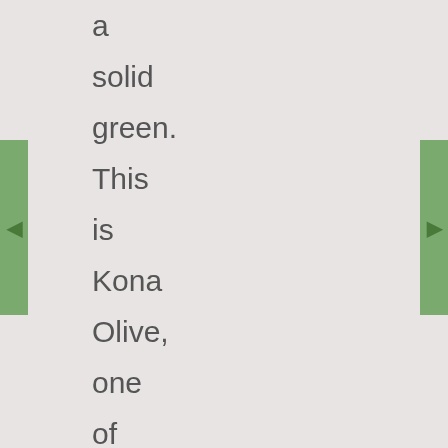a solid green. This is Kona Olive, one of my new favorites.

It's bound in a tan solid and